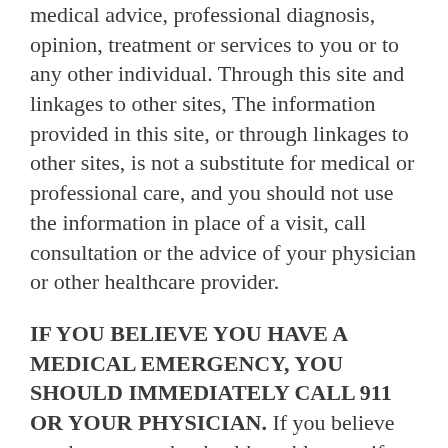medical advice, professional diagnosis, opinion, treatment or services to you or to any other individual. Through this site and linkages to other sites, The information provided in this site, or through linkages to other sites, is not a substitute for medical or professional care, and you should not use the information in place of a visit, call consultation or the advice of your physician or other healthcare provider.
IF YOU BELIEVE YOU HAVE A MEDICAL EMERGENCY, YOU SHOULD IMMEDIATELY CALL 911 OR YOUR PHYSICIAN. If you believe you have any other health problem, or if you have any questions regarding your health or a medical condition, you should promptly consult your physician or other healthcare provider. Never disregard medical or professional advice, or delay seeking it, because of something you read on this site or a linked website. Never rely on information on this website in place of seeking professional medical advice. You should also ask your physician or other healthcare